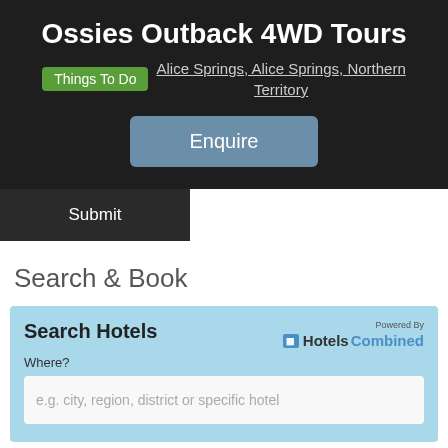Ossies Outback 4WD Tours
Things To Do   Alice Springs, Alice Springs, Northern Territory
Enquire
Submit
Search & Book
Search Hotels
Powered By HotelsCombined
Where?
e.g. city, region, district or specific hotel